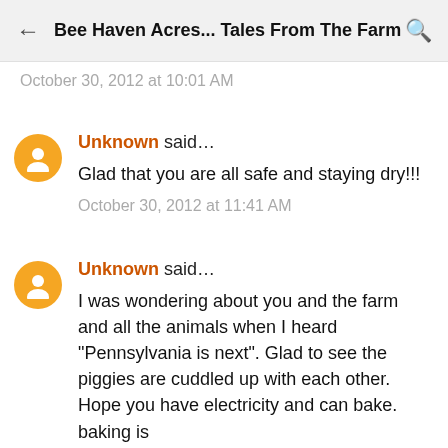Bee Haven Acres... Tales From The Farm
October 30, 2012 at 10:01 AM
Unknown said…
Glad that you are all safe and staying dry!!!
October 30, 2012 at 11:41 AM
Unknown said…
I was wondering about you and the farm and all the animals when I heard "Pennsylvania is next". Glad to see the piggies are cuddled up with each other. Hope you have electricity and can bake. baking is